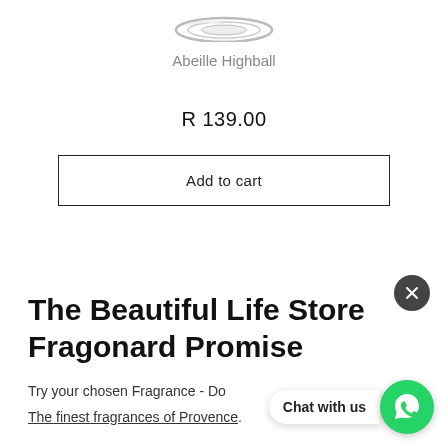[Figure (photo): Partial view of a glass (Abeille Highball) shown from top, cut off at top edge]
Abeille Highball
R 139.00
Add to cart
The Beautiful Life Store Fragonard Promise
Try your chosen Fragrance - Do
The finest fragrances of Provence.